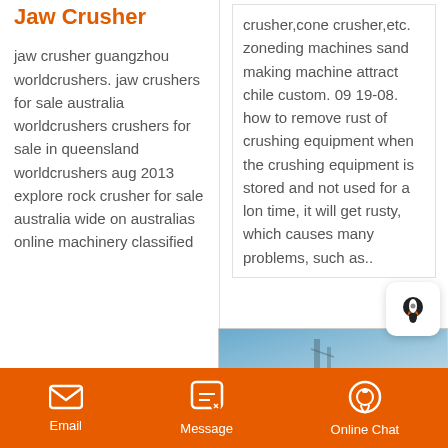Jaw Crusher
jaw crusher guangzhou worldcrushers. jaw crushers for sale australia worldcrushers crushers for sale in queensland worldcrushers aug 2013 explore rock crusher for sale australia wide on australias online machinery classified
crusher,cone crusher,etc. zoneding machines sand making machine attract chile custom. 09 19-08. how to remove rust of crushing equipment when the crushing equipment is stored and not used for a long time, it will get rusty, which causes many problems, such as..
[Figure (photo): Outdoor photo with sky, appears to show industrial or mechanical equipment against a blue-grey sky]
Email   Message   Online Chat